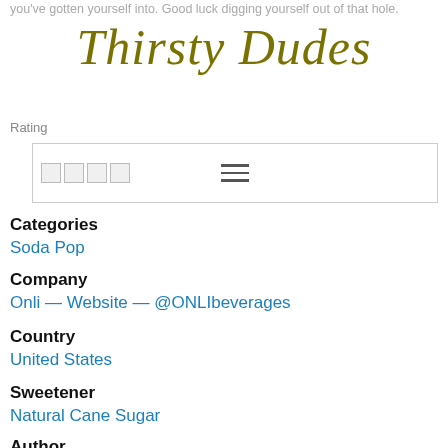you've gotten yourself into. Good luck digging yourself out of that hole.
[Figure (logo): Thirsty Dudes logo in gold italic script font]
Rating
Categories
Soda Pop
Company
Onli — Website — @ONLIbeverages
Country
United States
Sweetener
Natural Cane Sugar
Author
Jason Draper on 9/13/14, 1:29 PM